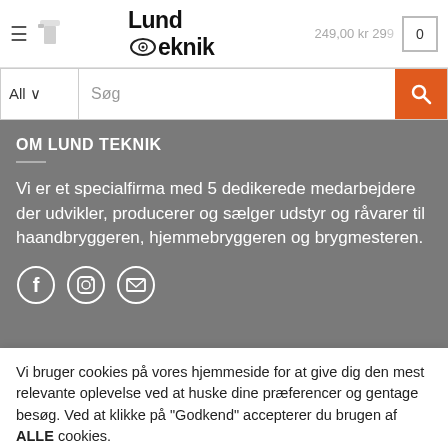Lund Teknik — 249,00 kr 299
[Figure (screenshot): Search bar with All dropdown, Søg input field, and orange search button]
OM LUND TEKNIK
Vi er et specialfirma med 5 dedikerede medarbejdere der udvikler, producerer og sælger udstyr og råvarer til haandbryggeren, hjemmebryggeren og brygmesteren.
[Figure (illustration): Social media icons: Facebook, Instagram, Email]
Vi bruger cookies på vores hjemmeside for at give dig den mest relevante oplevelse ved at huske dine præferencer og gentage besøg. Ved at klikke på "Godkend" accepterer du brugen af ALLE cookies.
Cookie settings  Godkend